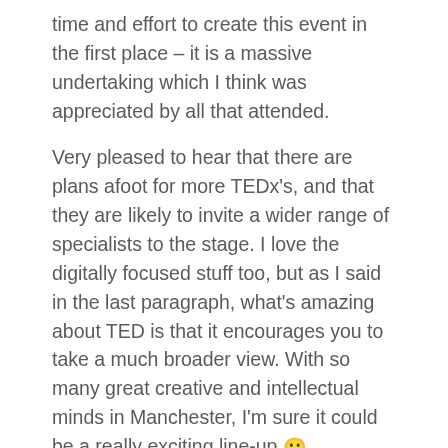time and effort to create this event in the first place – it is a massive undertaking which I think was appreciated by all that attended.
Very pleased to hear that there are plans afoot for more TEDx's, and that they are likely to invite a wider range of specialists to the stage. I love the digitally focused stuff too, but as I said in the last paragraph, what's amazing about TED is that it encourages you to take a much broader view. With so many great creative and intellectual minds in Manchester, I'm sure it could be a really exciting line-up 🙂
Until then, hopefully see you at FutureEverything and ThinkingDigital next year!